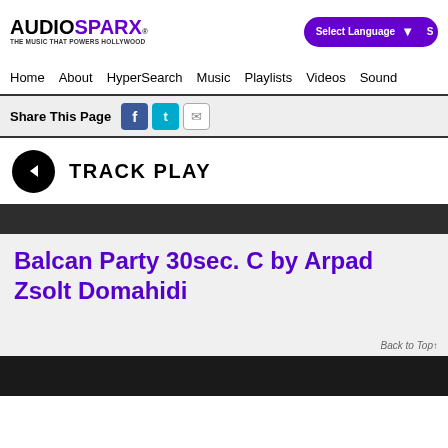AUDIOSPARX® — THE MUSIC THAT POWERS HOLLYWOOD
Select Language | Search
Home  About  HyperSearch  Music  Playlists  Videos  Sound
Share This Page
TRACK PLAY
Balcan Party 30sec. C by Arpad Zsolt Domahidi
Back to Top↑